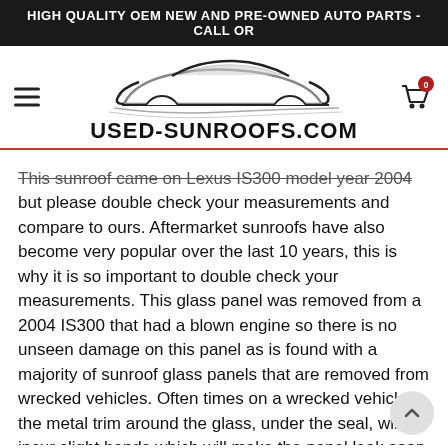HIGH QUALITY OEM NEW AND PRE-OWNED AUTO PARTS - CALL OR
[Figure (logo): Used-Sunroofs.com logo with stylized car silhouette above the text USED-SUNROOFS.COM]
This sunroof came on Lexus IS300 model year 2004 but please double check your measurements and compare to ours. Aftermarket sunroofs have also become very popular over the last 10 years, this is why it is so important to double check your measurements. This glass panel was removed from a 2004 IS300 that had a blown engine so there is no unseen damage on this panel as is found with a majority of sunroof glass panels that are removed from wrecked vehicles. Often times on a wrecked vehicle, the metal trim around the glass, under the seal, will incur slight bends which will make the panel leak soon after. We have been dealing in sunroof glass panels for 20 years now and only sell the